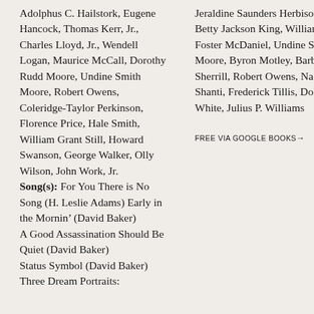Adolphus C. Hailstork, Eugene Hancock, Thomas Kerr, Jr., Charles Lloyd, Jr., Wendell Logan, Maurice McCall, Dorothy Rudd Moore, Undine Smith Moore, Robert Owens, Coleridge-Taylor Perkinson, Florence Price, Hale Smith, William Grant Still, Howard Swanson, George Walker, Olly Wilson, John Work, Jr. Song(s): For You There is No Song (H. Leslie Adams) Early in the Mornin' (David Baker) A Good Assassination Should Be Quiet (David Baker) Status Symbol (David Baker) Three Dream Portraits:
Jeraldine Saunders Herbison, Betty Jackson King, William Foster McDaniel, Undine Smith Moore, Byron Motley, Barbara Sherrill, Robert Owens, Nadine Shanti, Frederick Tillis, Dolores White, Julius P. Williams
FREE VIA GOOGLE BOOKS →